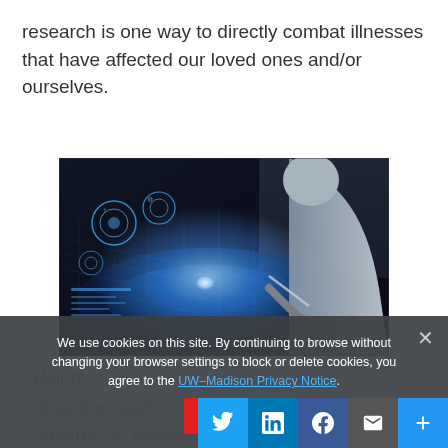research is one way to directly combat illnesses that have affected our loved ones and/or ourselves.
[Figure (photo): A person in a white lab coat interacting with a glowing digital interface display showing medical/technology holographic elements, with blue light emanating from a touchscreen surface.]
We use cookies on this site. By continuing to browse without changing your browser settings to block or delete cookies, you agree to the UW–Madison Privacy Notice.